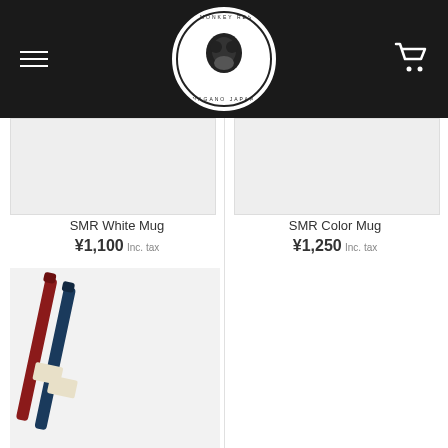Snow Monkey Resorts - Nagano Japan
[Figure (photo): Product image of SMR White Mug on light grey background]
SMR White Mug
¥1,100 Inc. tax
[Figure (photo): Product image of SMR Color Mug on light grey background]
SMR Color Mug
¥1,250 Inc. tax
[Figure (photo): Product image of two chopsticks (one red/maroon, one navy blue) with Japanese packaging bands, on white background]